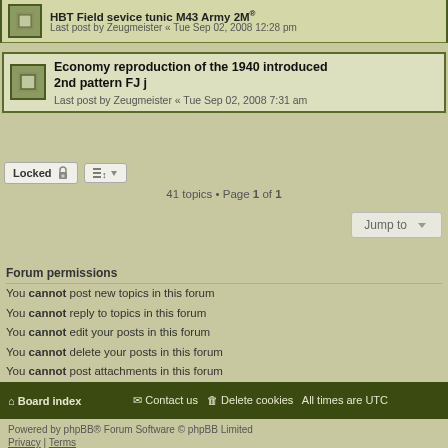HBT Field sevice tunic M43 Army  2M — Last post by Zeugmeister « Tue Sep 02, 2008 12:28 pm
Economy reproduction of the 1940 introduced 2nd pattern FJ j — Last post by Zeugmeister « Tue Sep 02, 2008 7:31 am
Locked
41 topics • Page 1 of 1
Jump to
Forum permissions
You cannot post new topics in this forum
You cannot reply to topics in this forum
You cannot edit your posts in this forum
You cannot delete your posts in this forum
You cannot post attachments in this forum
Board index   Contact us   Delete cookies   All times are UTC
Powered by phpBB® Forum Software © phpBB Limited
Privacy | Terms